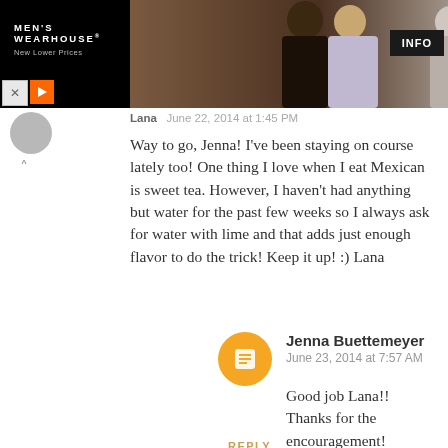[Figure (screenshot): Men's Wearhouse advertisement banner showing a couple in formal wedding attire and a man in a grey suit with an INFO button]
Lana   June 22, 2014 at 1:45 PM
Way to go, Jenna! I've been staying on course lately too! One thing I love when I eat Mexican is sweet tea. However, I haven't had anything but water for the past few weeks so I always ask for water with lime and that adds just enough flavor to do the trick! Keep it up! :) Lana
Jenna Buettemeyer
June 23, 2014 at 7:57 AM
Good job Lana!! Thanks for the encouragement!
REPLY
Enter Comment